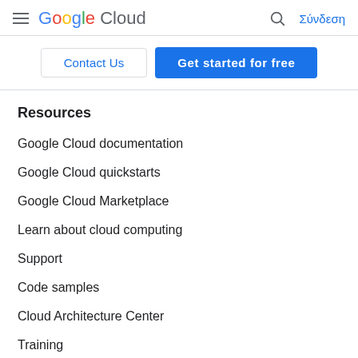[Figure (logo): Google Cloud logo with hamburger menu icon on the left, search icon and Σύνδεση (Sign in) link on the right]
[Figure (screenshot): Two buttons: 'Contact Us' (outlined) and 'Get started for free' (blue filled)]
Resources
Google Cloud documentation
Google Cloud quickstarts
Google Cloud Marketplace
Learn about cloud computing
Support
Code samples
Cloud Architecture Center
Training
Certifications